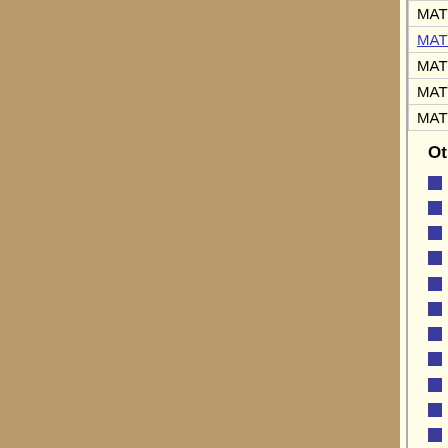| Course | Instructor | Type |
| --- | --- | --- |
| MATH 194.07 | Huber, Mark | RESE |
| MATH 196S.01 | Mitchener, W | SEM |
| MATH 136.001 | Lavine, Michael | STAT |
| MATH 136.01 | Lavine, Michael | STAT |
| MATH 136.02 | Lavine, Michael | STAT |
Other Semesters available:
2022: Spring, Summer Term 1, Summe
2021: Spring, Summer Term 1, Summe
2020: Spring, Summer Term 1, Summe
2019: Spring, Summer Term 1, Summe
2018: Spring, Summer Term 1, Summe
2017: Spring, Summer Term 1, Summe
2016: Spring, Summer Term 1, Summe
2015: Spring, Summer Term 1, Summe
2014: Spring, Summer Term 1, Summe
2013: Spring, Summer Term 1, Summe
2012: Spring, Summer Term 1, Summe
2011: Spring, Summer Term 1, Summe
2010: Spring, Summer Term 1, Summe
2009: Spring, Summer Term 1, Summe
2008: Spring, Summer Term 1, Summe
2007: Spring, Summer Term 1, Summe
2006: Spring, Summer Term 1, Summe
2005: Spring, Summer Term 1, Summe